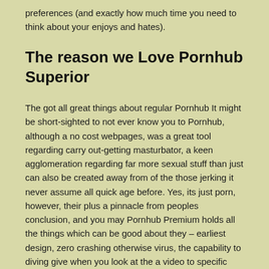preferences (and exactly how much time you need to think about your enjoys and hates).
The reason we Love Pornhub Superior
The got all great things about regular Pornhub It might be short-sighted to not ever know you to Pornhub, although a no cost webpages, was a great tool regarding carry out-getting masturbator, a keen agglomeration regarding far more sexual stuff than just can also be created away from of the those jerking it never assume all quick age before. Yes, its just porn, however, their plus a pinnacle from peoples conclusion, and you may Pornhub Premium holds all the things which can be good about they – earliest design, zero crashing otherwise virus, the capability to diving give when you look at the a video to specific gender serves and also to look for and this moments try best, and you can a near unimaginably huge distinct clips